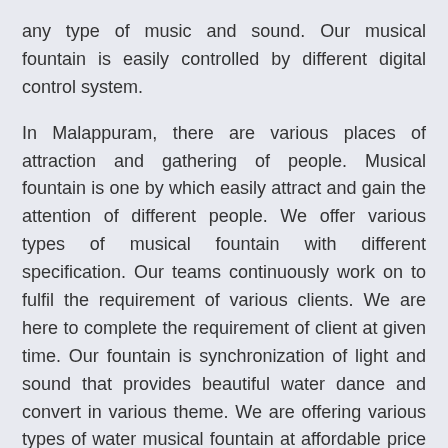any type of music and sound. Our musical fountain is easily controlled by different digital control system.
In Malappuram, there are various places of attraction and gathering of people. Musical fountain is one by which easily attract and gain the attention of different people. We offer various types of musical fountain with different specification. Our teams continuously work on to fulfil the requirement of various clients. We are here to complete the requirement of client at given time. Our fountain is synchronization of light and sound that provides beautiful water dance and convert in various theme. We are offering various types of water musical fountain at affordable price in Malappuram. We are top manufacturer that provides creation of different types of program.
Musical fountain are used to enhance the beauty of place and to gain attention of people. This fountain is very